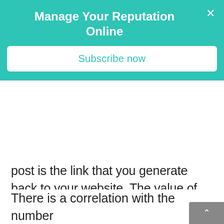Manage Your Reputation Online
Subscribe now
post is the link that you generate back to your website. The value of backlinks is on the rise as website owners are beginning to understand their value of them.
There is a correlation with the number